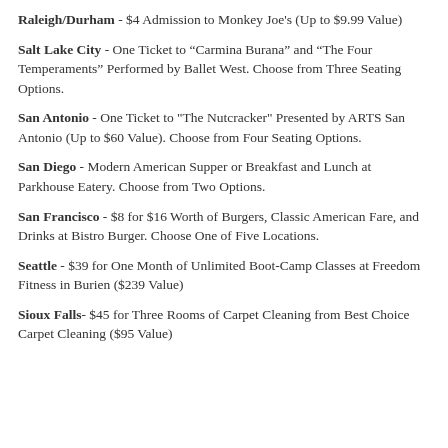Raleigh/Durham - $4 Admission to Monkey Joe's (Up to $9.99 Value)
Salt Lake City - One Ticket to “Carmina Burana” and “The Four Temperaments” Performed by Ballet West. Choose from Three Seating Options.
San Antonio - One Ticket to "The Nutcracker" Presented by ARTS San Antonio (Up to $60 Value). Choose from Four Seating Options.
San Diego - Modern American Supper or Breakfast and Lunch at Parkhouse Eatery. Choose from Two Options.
San Francisco - $8 for $16 Worth of Burgers, Classic American Fare, and Drinks at Bistro Burger. Choose One of Five Locations.
Seattle - $39 for One Month of Unlimited Boot-Camp Classes at Freedom Fitness in Burien ($239 Value)
Sioux Falls- $45 for Three Rooms of Carpet Cleaning from Best Choice Carpet Cleaning ($95 Value)